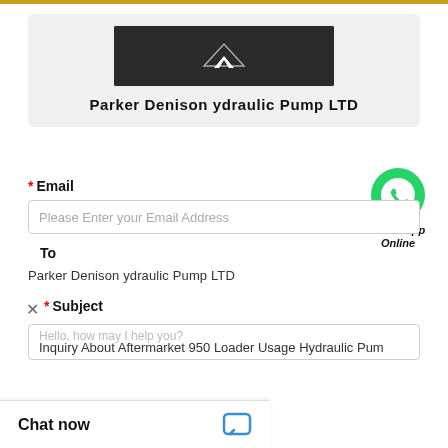[Figure (logo): Parker Denison logo - dark rectangular background with white angular/tent shape]
Parker Denison ydraulic Pump LTD
* Email
[Figure (illustration): WhatsApp green circle phone icon with text WhatsApp Online below]
Please Enter your Email Address
To
Parker Denison ydraulic Pump LTD
* Subject
Inquiry About Aftermarket 950 Loader Usage Hydraulic Pum
Chat now